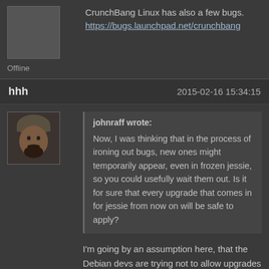CrunchBang Linux has also a few bugs.
https://bugs.launchpad.net/crunchbang
Offline
hhh    2015-02-16 15:34:15
[Figure (photo): Avatar photo of user hhh showing a person with a hat and mustache]
johnraff wrote:
Now, I was thinking that in the process of ironing out bugs, new ones might temporarily appear, even in frozen jessie, so you could usefully wait them out. Is it for sure that every upgrade that comes in for jessie from now on will be safe to apply?
I'm going by an assumption here, that the Debian devs are trying not to allow upgrades that will break jessie further (hence only bugfix